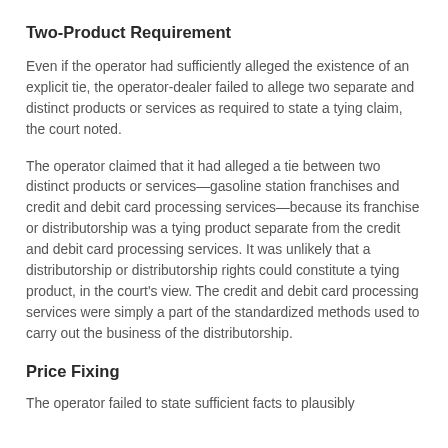Two-Product Requirement
Even if the operator had sufficiently alleged the existence of an explicit tie, the operator-dealer failed to allege two separate and distinct products or services as required to state a tying claim, the court noted.
The operator claimed that it had alleged a tie between two distinct products or services—gasoline station franchises and credit and debit card processing services—because its franchise or distributorship was a tying product separate from the credit and debit card processing services. It was unlikely that a distributorship or distributorship rights could constitute a tying product, in the court's view. The credit and debit card processing services were simply a part of the standardized methods used to carry out the business of the distributorship.
Price Fixing
The operator failed to state sufficient facts to plausibly